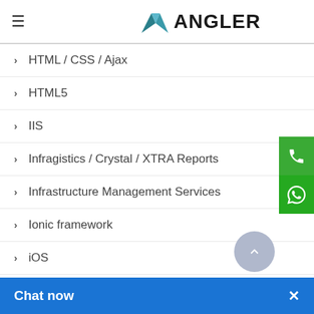ANGLER
HTML / CSS / Ajax
HTML5
IIS
Infragistics / Crystal / XTRA Reports
Infrastructure Management Services
Ionic framework
iOS
iPhone / iPad